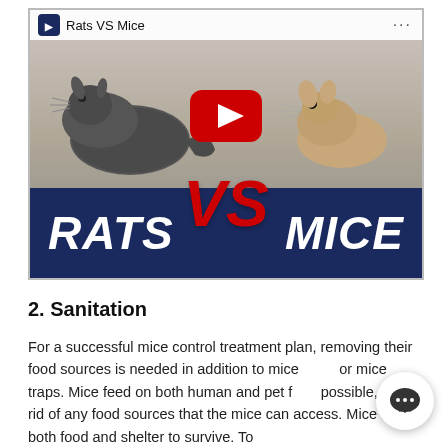[Figure (screenshot): YouTube video thumbnail showing 'Rats VS Mice' with a large rat on the left, a mouse on the right, a red YouTube play button in the center, and a dark navy banner at the bottom reading 'RATS VS MICE' with a large red stylized 'VS' overlaid.]
2. Sanitation
For a successful mice control treatment plan, removing their food sources is needed in addition to mice or mice traps. Mice feed on both human and pet f possible, get rid of any food sources that the mice can access. Mice need both food and shelter to survive. To